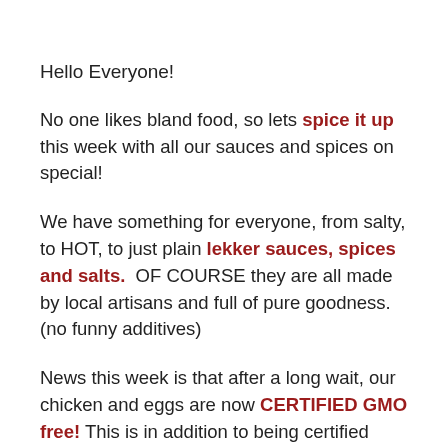Hello Everyone!
No one likes bland food, so lets spice it up this week with all our sauces and spices on special!
We have something for everyone, from salty, to HOT, to just plain lekker sauces, spices and salts. OF COURSE they are all made by local artisans and full of pure goodness. (no funny additives)
News this week is that after a long wait, our chicken and eggs are now CERTIFIED GMO free! This is in addition to being certified hormone, antibiotic and pesticide free.
Soon you will notice a gold sticker on all our products!
Have fun with our saucy,